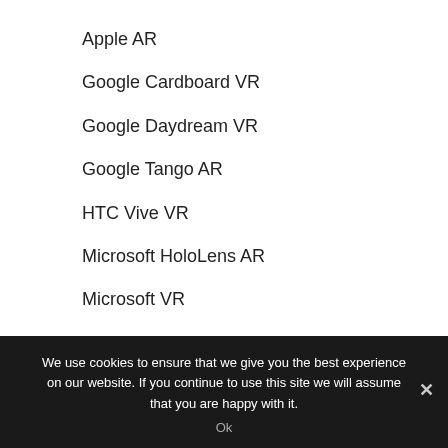Apple AR
Google Cardboard VR
Google Daydream VR
Google Tango AR
HTC Vive VR
Microsoft HoloLens AR
Microsoft VR
Oculus Quest VR
We use cookies to ensure that we give you the best experience on our website. If you continue to use this site we will assume that you are happy with it.
Ok